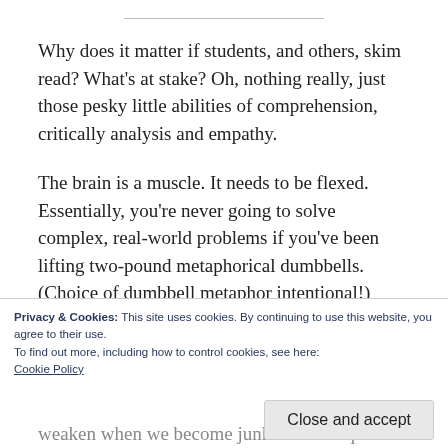Why does it matter if students, and others, skim read? What's at stake? Oh, nothing really, just those pesky little abilities of comprehension, critically analysis and empathy.
The brain is a muscle. It needs to be flexed. Essentially, you're never going to solve complex, real-world problems if you've been lifting two-pound metaphorical dumbbells. (Choice of dumbbell metaphor intentional!)
Privacy & Cookies: This site uses cookies. By continuing to use this website, you agree to their use.
To find out more, including how to control cookies, see here:
Cookie Policy
Close and accept
weaken when we become junkies of the quick